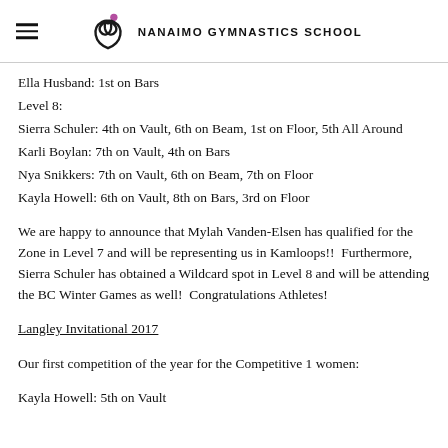NANAIMO GYMNASTICS SCHOOL
Ella Husband: 1st on Bars
Level 8:
Sierra Schuler: 4th on Vault, 6th on Beam, 1st on Floor, 5th All Around
Karli Boylan: 7th on Vault, 4th on Bars
Nya Snikkers: 7th on Vault, 6th on Beam, 7th on Floor
Kayla Howell: 6th on Vault, 8th on Bars, 3rd on Floor
We are happy to announce that Mylah Vanden-Elsen has qualified for the Zone in Level 7 and will be representing us in Kamloops!!  Furthermore, Sierra Schuler has obtained a Wildcard spot in Level 8 and will be attending the BC Winter Games as well!  Congratulations Athletes!
Langley Invitational 2017
Our first competition of the year for the Competitive 1 women:
Kayla Howell: 5th on Vault